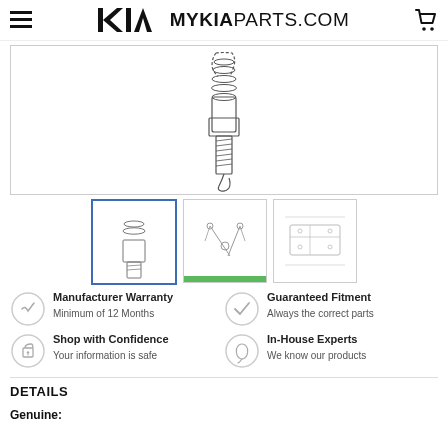MYKIAPARTS.COM
[Figure (illustration): Line drawing of a spark plug shown at an angle, with threaded ceramic insulator visible from top to bottom, dashed outline indicating the part boundary]
[Figure (illustration): Thumbnail 1: close-up view of spark plug illustration, selected/active state]
[Figure (illustration): Thumbnail 2: parts diagram with small fasteners/screws shown]
[Figure (illustration): Thumbnail 3: exploded parts diagram showing component assembly]
Manufacturer Warranty
Minimum of 12 Months
Guaranteed Fitment
Always the correct parts
Shop with Confidence
Your information is safe
In-House Experts
We know our products
DETAILS
Genuine: